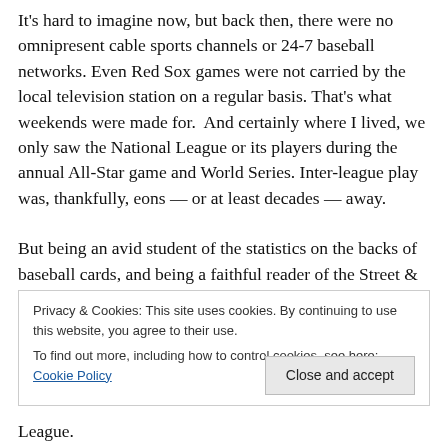It's hard to imagine now, but back then, there were no omnipresent cable sports channels or 24-7 baseball networks. Even Red Sox games were not carried by the local television station on a regular basis. That's what weekends were made for.  And certainly where I lived, we only saw the National League or its players during the annual All-Star game and World Series. Inter-league play was, thankfully, eons — or at least decades — away.

But being an avid student of the statistics on the backs of baseball cards, and being a faithful reader of the Street &
Privacy & Cookies: This site uses cookies. By continuing to use this website, you agree to their use.
To find out more, including how to control cookies, see here: Cookie Policy
Close and accept
League.